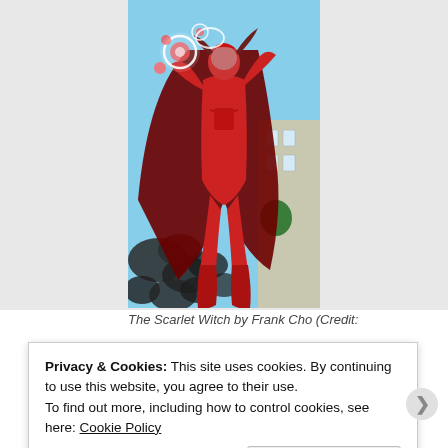[Figure (illustration): Comic book illustration of the Scarlet Witch by Frank Cho. The character is depicted flying in a red costume with a flowing red cape, glowing magical orbs in her raised hand, against a blue sky with dark smoke and city buildings in the background.]
The Scarlet Witch by Frank Cho (Credit:
Privacy & Cookies: This site uses cookies. By continuing to use this website, you agree to their use.
To find out more, including how to control cookies, see here: Cookie Policy
Close and accept